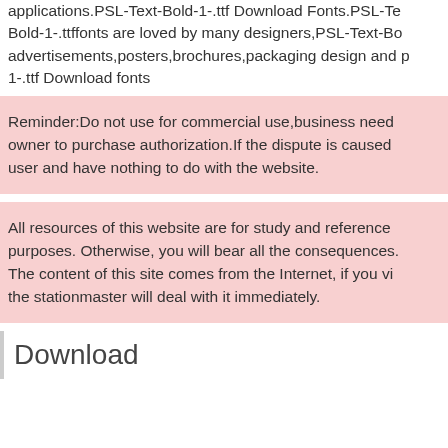applications.PSL-Text-Bold-1-.ttf Download Fonts.PSL-Text-Bold-1-.ttffonts are loved by many designers,PSL-Text-Bold-1-.ttf advertisements,posters,brochures,packaging design and p...1-.ttf Download fonts
Reminder:Do not use for commercial use,business need owner to purchase authorization.If the dispute is caused user and have nothing to do with the website.
All resources of this website are for study and reference purposes. Otherwise, you will bear all the consequences. The content of this site comes from the Internet, if you vi... the stationmaster will deal with it immediately.
Download